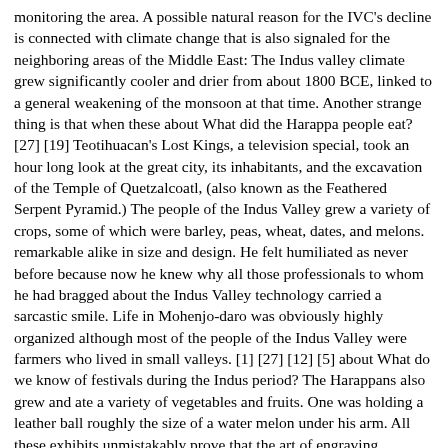monitoring the area. A possible natural reason for the IVC's decline is connected with climate change that is also signaled for the neighboring areas of the Middle East: The Indus valley climate grew significantly cooler and drier from about 1800 BCE, linked to a general weakening of the monsoon at that time. Another strange thing is that when these about What did the Harappa people eat? [27] [19] Teotihuacan's Lost Kings, a television special, took an hour long look at the great city, its inhabitants, and the excavation of the Temple of Quetzalcoatl, (also known as the Feathered Serpent Pyramid.) The people of the Indus Valley grew a variety of crops, some of which were barley, peas, wheat, dates, and melons. remarkable alike in size and design. He felt humiliated as never before because now he knew why all those professionals to whom he had bragged about the Indus Valley technology carried a sarcastic smile. Life in Mohenjo-daro was obviously highly organized although most of the people of the Indus Valley were farmers who lived in small valleys. [1] [27] [12] [5] about What do we know of festivals during the Indus period? The Harappans also grew and ate a variety of vegetables and fruits. One was holding a leather ball roughly the size of a water melon under his arm. All these exhibits unmistakably prove that the art of engraving achieved a success during the Indus valley civilization. many things and perfected many skills. Sewers had removable covers, which allowed workers to clean them with ease. A harp-like instrument depicted on an Indus seal and two shell objects from Lothal confirm that stringed musical instruments were in use in the